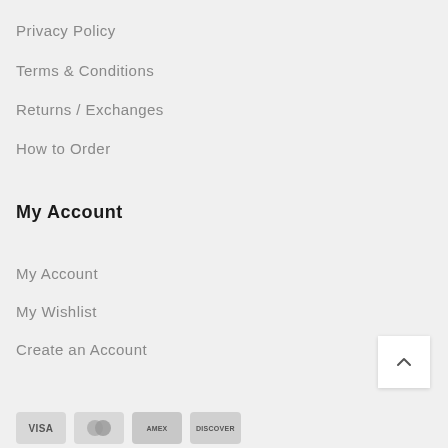Privacy Policy
Terms & Conditions
Returns / Exchanges
How to Order
My Account
My Account
My Wishlist
Create an Account